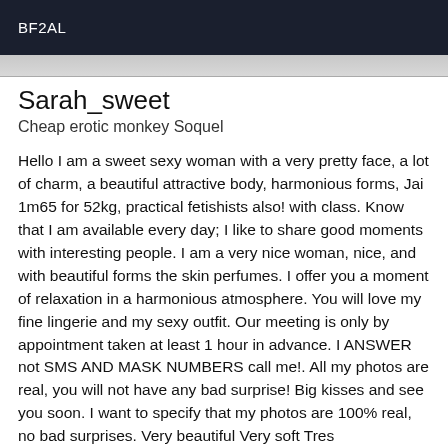BF2AL
[Figure (photo): Partial image strip visible at top of content area, showing a blurred/cropped photo in grayscale]
Sarah_sweet
Cheap erotic monkey Soquel
Hello I am a sweet sexy woman with a very pretty face, a lot of charm, a beautiful attractive body, harmonious forms, Jai 1m65 for 52kg, practical fetishists also! with class. Know that I am available every day; I like to share good moments with interesting people. I am a very nice woman, nice, and with beautiful forms the skin perfumes. I offer you a moment of relaxation in a harmonious atmosphere. You will love my fine lingerie and my sexy outfit. Our meeting is only by appointment taken at least 1 hour in advance. I ANSWER not SMS AND MASK NUMBERS call me!. All my photos are real, you will not have any bad surprise! Big kisses and see you soon. I want to specify that my photos are 100% real, no bad surprises. Very beautiful Very soft Tres